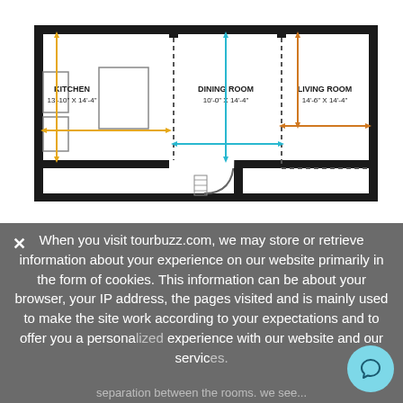[Figure (schematic): Floor plan showing three rooms: Kitchen (13'-10" x 14'-4"), Dining Room (10'-0" x 14'-4"), and Living Room (14'-6" x 14'-4"). Yellow dimension arrows show Kitchen measurements, cyan dimension arrows show Dining Room measurements, orange dimension arrows show Living Room measurements. Rooms are separated by dotted lines.]
When you visit tourbuzz.com, we may store or retrieve information about your experience on our website primarily in the form of cookies. This information can be about your browser, your IP address, the pages visited and is mainly used to make the site work according to your expectations and to offer you a personalized experience with our website and our services. separation between the rooms. we see...